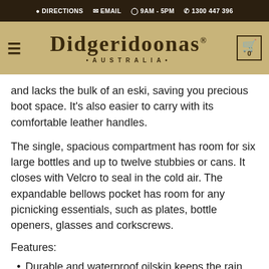DIRECTIONS  EMAIL  9AM - 5PM  1300 447 396
[Figure (logo): Didgeridoonas Australia logo with hamburger menu and shopping cart]
and lacks the bulk of an eski, saving you precious boot space. It's also easier to carry with its comfortable leather handles.
The single, spacious compartment has room for six large bottles and up to twelve stubbies or cans. It closes with Velcro to seal in the cold air. The expandable bellows pocket has room for any picnicking essentials, such as plates, bottle openers, glasses and corkscrews.
Features:
Durable and waterproof oilskin keeps the rain